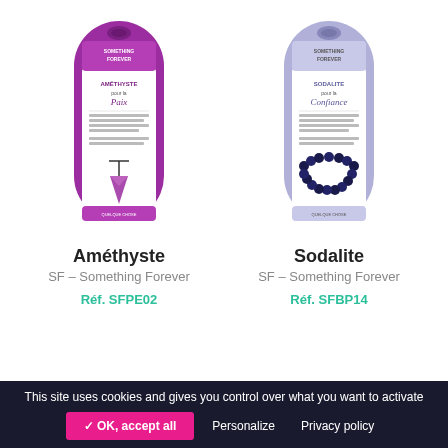[Figure (photo): Product photo of Améthyste jewelry package from SF - Something Forever, purple packaging with crystal pendant necklace]
Améthyste
SF – Something Forever
Réf. SFPE02
[Figure (photo): Product photo of Sodalite jewelry package from SF - Something Forever, light purple packaging with bead bracelet]
Sodalite
SF – Something Forever
Réf. SFBP14
This site uses cookies and gives you control over what you want to activate  ✓ OK, accept all  Personalize  Privacy policy